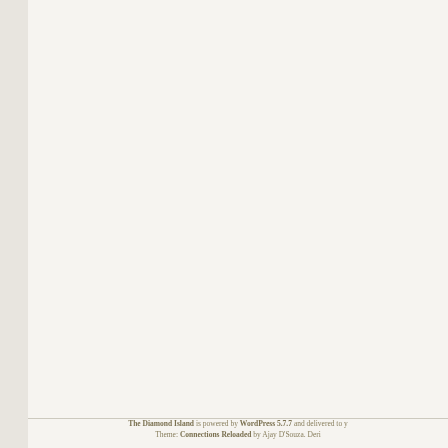The Diamond Island is powered by WordPress 5.7.7 and delivered to y Theme: Connections Reloaded by Ajay D'Souza. Deri